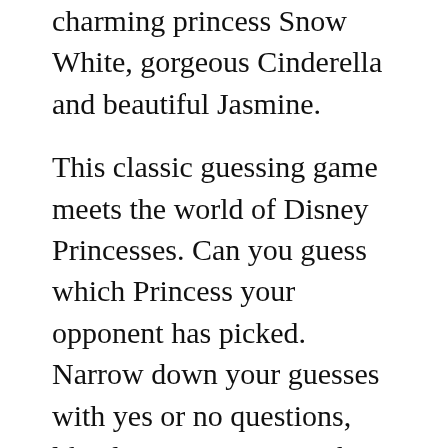charming princess Snow White, gorgeous Cinderella and beautiful Jasmine.
This classic guessing game meets the world of Disney Princesses. Can you guess which Princess your opponent has picked. Narrow down your guesses with yes or no questions, like does your Princess have blue eyes and once you have all your answers, make your guess. However, Princess Tiana can probably take credit for bringing it back: After a slump between 1998 and 2008, it shot up to the 334th most popular girl’s name in 2010, with roughly one in every
However, Princess Tiana can probably take credit for bringing it back: After a slump between 1998 and 2008, it shot up to the 334th most popular